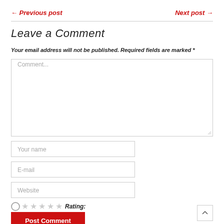← Previous post    Next post →
Leave a Comment
Your email address will not be published. Required fields are marked *
[Figure (screenshot): Comment text area input field with placeholder text 'Comment...']
[Figure (screenshot): Your name text input field]
[Figure (screenshot): E-mail text input field]
[Figure (screenshot): Website text input field]
Rating:
[Figure (screenshot): Post Comment button (red background, white text)]